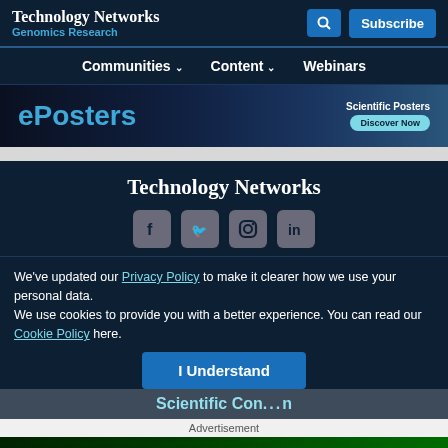Technology Networks
Genomics Research
Communities  Content  Webinars
[Figure (screenshot): ePosters advertisement banner with Scientific Posters Discover Now button]
[Figure (screenshot): Technology Networks footer with social media icons for Facebook, Twitter, Instagram, LinkedIn]
We've updated our Privacy Policy to make it clearer how we use your personal data.
We use cookies to provide you with a better experience. You can read our Cookie Policy here.
[Figure (screenshot): I Understand button for cookie consent]
Scientific Con...n
Advertisement
[Figure (screenshot): Bio-Rad advertisement: Automate with confidence. BIO-RAD]